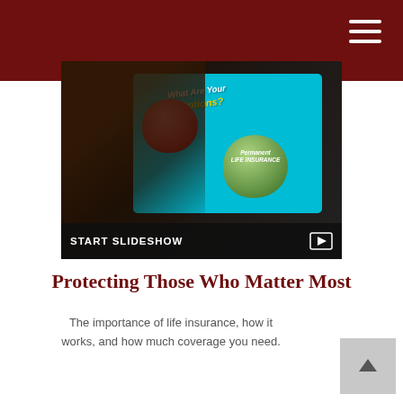[Figure (screenshot): A hand touching a tablet screen displaying 'What Are Your Options?' with a red apple and a green apple labeled 'Permanent Life Insurance'. A 'START SLIDESHOW' bar appears at the bottom of the image.]
Protecting Those Who Matter Most
The importance of life insurance, how it works, and how much coverage you need.